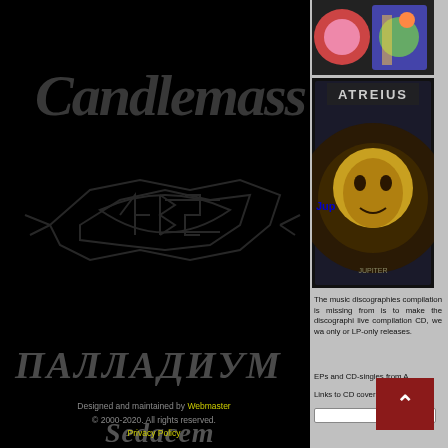[Figure (illustration): Black background with decorative Candlemass band logo text in dark grey gothic font]
[Figure (illustration): Sarke decorative band logo in dark grey metallic style on black]
[Figure (photo): Album cover image - colorful sci-fi style artwork top right]
[Figure (photo): Atreius album cover - dark golden face/portal artwork]
Jup
The music discographies compilation is missing from is to make the discographi live compilation CD, we wa only or LP-only releases.
EPs and CD-singles from A
Links to CD cover art can b
[Figure (illustration): Palatinum band logo in dark grey on black]
[Figure (illustration): Secundum band logo in dark grey on black]
Designed and maintained by Webmaster © 2000-2020. All rights reserved. Privacy Policy